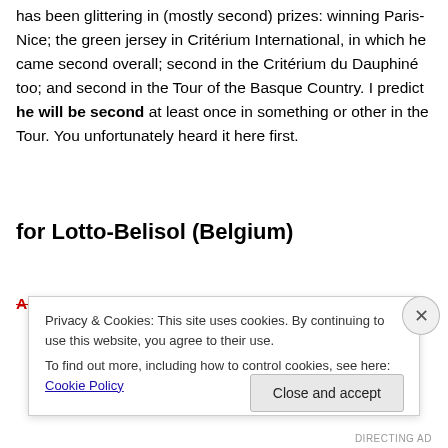has been glittering in (mostly second) prizes: winning Paris-Nice; the green jersey in Critérium International, in which he came second overall; second in the Critérium du Dauphiné too; and second in the Tour of the Basque Country. I predict he will be second at least once in something or other in the Tour. You unfortunately heard it here first.
for Lotto-Belisol (Belgium)
Adam Hansen (Aus, aged 32) is the second last of our
Privacy & Cookies: This site uses cookies. By continuing to use this website, you agree to their use.
To find out more, including how to control cookies, see here: Cookie Policy